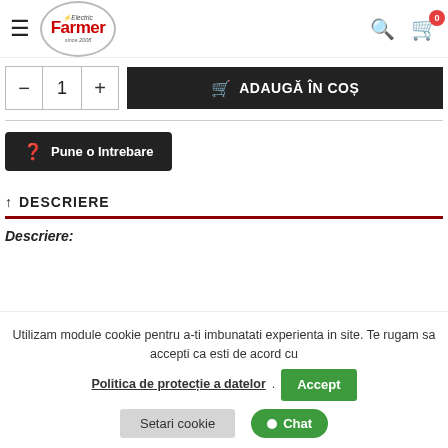Electric Farmer since 2008 — navigation bar with search and cart (0 items)
— 1 + ADAUGĂ ÎN COȘ
Pune o Intrebare
^ DESCRIERE
Descriere:
Utilizam module cookie pentru a-ti imbunatati experienta in site. Te rugam sa accepti ca esti de acord cu Politica de protecție a datelor. Accept
Setari cookie
Chat